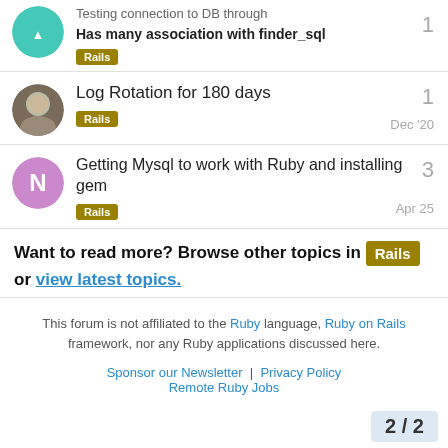Testing connection to DB through
Has many association with finder_sql [Rails] — 1 reply
Log Rotation for 180 days [Rails] — 1 reply — Dec '20
Getting Mysql to work with Ruby and installing gem [Rails] — 3 replies — Apr 25
Want to read more? Browse other topics in Rails or view latest topics.
This forum is not affiliated to the Ruby language, Ruby on Rails framework, nor any Ruby applications discussed here.
Sponsor our Newsletter | Privacy Policy
Remote Ruby Jobs   2 / 2